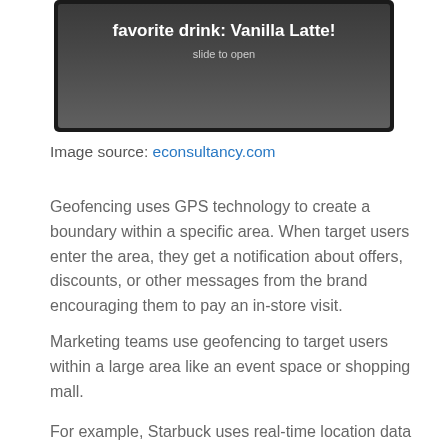[Figure (screenshot): A smartphone screen showing a push notification with text 'favorite drink: Vanilla Latte!' and 'slide to open' below it, on a dark gradient background.]
Image source: econsultancy.com
Geofencing uses GPS technology to create a boundary within a specific area. When target users enter the area, they get a notification about offers, discounts, or other messages from the brand encouraging them to pay an in-store visit.
Marketing teams use geofencing to target users within a large area like an event space or shopping mall.
For example, Starbuck uses real-time location data